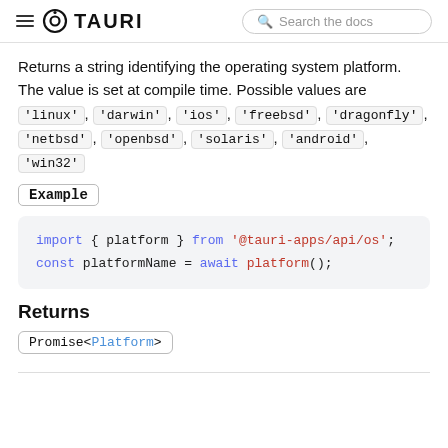TAURI — Search the docs
Returns a string identifying the operating system platform. The value is set at compile time. Possible values are 'linux', 'darwin', 'ios', 'freebsd', 'dragonfly', 'netbsd', 'openbsd', 'solaris', 'android', 'win32'
Example
import { platform } from '@tauri-apps/api/os';
const platformName = await platform();
Returns
Promise<Platform>